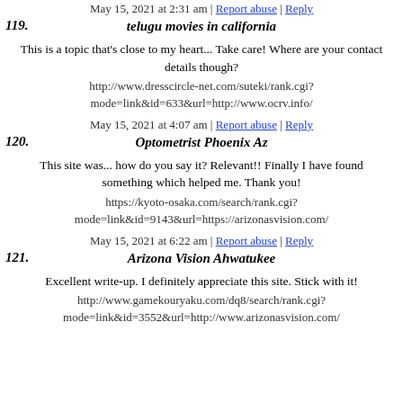May 15, 2021 at 2:31 am | Report abuse | Reply
telugu movies in california
This is a topic that's close to my heart... Take care! Where are your contact details though?
http://www.dresscircle-net.com/suteki/rank.cgi?mode=link&id=633&url=http://www.ocrv.info/
May 15, 2021 at 4:07 am | Report abuse | Reply
Optometrist Phoenix Az
This site was... how do you say it? Relevant!! Finally I have found something which helped me. Thank you!
https://kyoto-osaka.com/search/rank.cgi?mode=link&id=9143&url=https://arizonasvision.com/
May 15, 2021 at 6:22 am | Report abuse | Reply
Arizona Vision Ahwatukee
Excellent write-up. I definitely appreciate this site. Stick with it!
http://www.gamekouryaku.com/dq8/search/rank.cgi?mode=link&id=3552&url=http://www.arizonasvision.com/